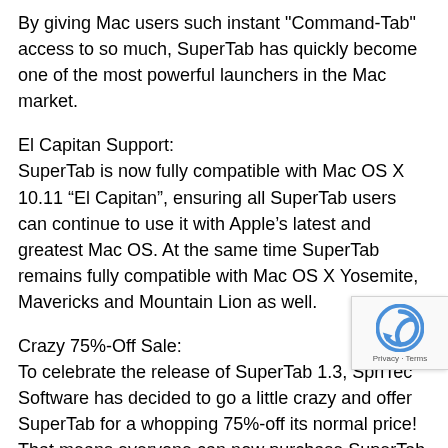By giving Mac users such instant "Command-Tab" access to so much, SuperTab has quickly become one of the most powerful launchers in the Mac market.
El Capitan Support:
SuperTab is now fully compatible with Mac OS X 10.11 “El Capitan”, ensuring all SuperTab users can continue to use it with Apple’s latest and greatest Mac OS. At the same time SuperTab remains fully compatible with Mac OS X Yosemite, Mavericks and Mountain Lion as well.
Crazy 75%-Off Sale:
To celebrate the release of SuperTab 1.3, SpriTec Software has decided to go a little crazy and offer SuperTab for a whopping 75%-off its normal price! That means everyone can now purchase SuperTab for the low price of just $5! Yet even at such a low price, users can first try SuperTab for free as a 30-day Trial. Even after the trial has ended, SuperTab remains fully functional with only the occasional